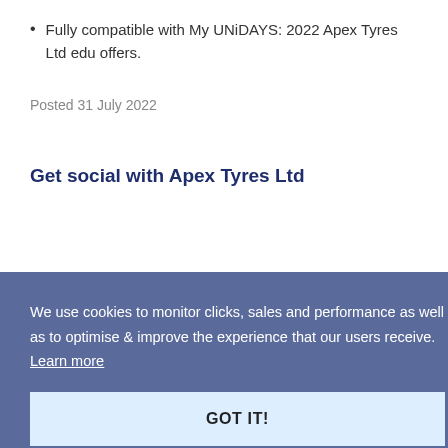Fully compatible with My UNiDAYS: 2022 Apex Tyres Ltd edu offers.
Posted 31 July 2022
Get social with Apex Tyres Ltd
We use cookies to monitor clicks, sales and performance as well as to optimise & improve the experience that our users receive. Learn more
GOT IT!
ltd
arly in the UK where us Britons love to drive a hard bargain. Saving